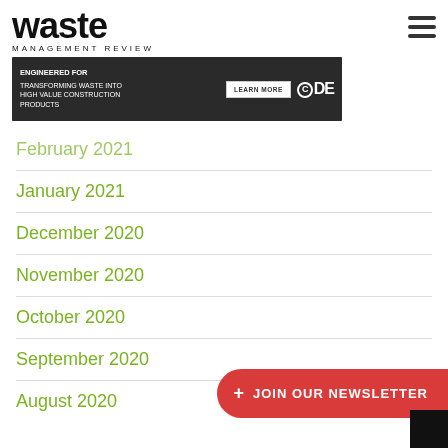waste MANAGEMENT REVIEW
[Figure (illustration): CDE advertisement banner: dark background with text 'ENGINEERED FOR TRANSFORMING WASTE INTO HIGH VALUE CONSTRUCTION PRODUCTS', a LEARN MORE button, and CDE logo with construction workers image]
February 2021
January 2021
December 2020
November 2020
October 2020
September 2020
August 2020